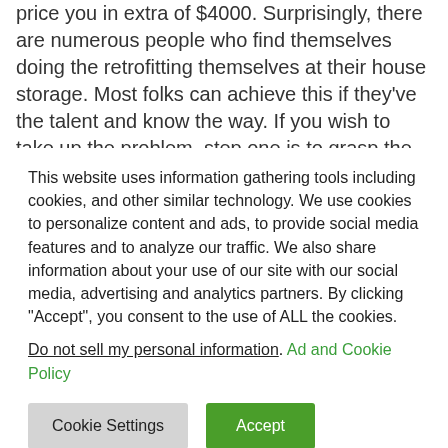price you in extra of $4000. Surprisingly, there are numerous people who find themselves doing the retrofitting themselves at their house storage. Most folks can achieve this if they've the talent and know the way. If you wish to take up the problem, step one is to grasp the science behind the method of modifying a automotive to run purely
This website uses information gathering tools including cookies, and other similar technology. We use cookies to personalize content and ads, to provide social media features and to analyze our traffic. We also share information about your use of our site with our social media, advertising and analytics partners. By clicking "Accept", you consent to the use of ALL the cookies.
Do not sell my personal information. Ad and Cookie Policy
Cookie Settings  Accept